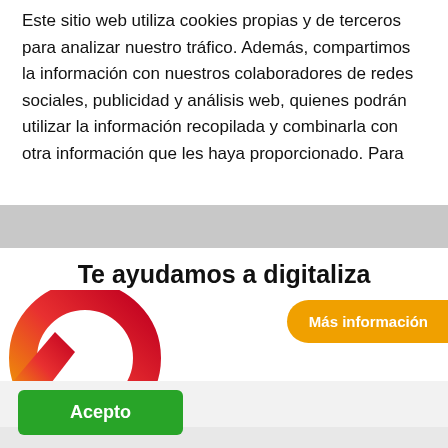Este sitio web utiliza cookies propias y de terceros para analizar nuestro tráfico. Además, compartimos la información con nuestros colaboradores de redes sociales, publicidad y análisis web, quienes podrán utilizar la información recopilada y combinarla con otra información que les haya proporcionado. Para
×
Te ayudamos a digitaliza
[Figure (logo): Red.es logo with gradient R in red-orange colors]
Más información
[Figure (logo): Gobierno de España / Ministerio de Asuntos Económicos y Transformación Digital / Vicepresidencia Primera del Gobierno / Secretaría de Estado de Digitalización e Inteligencia Artificial logos]
red.es
Acepto